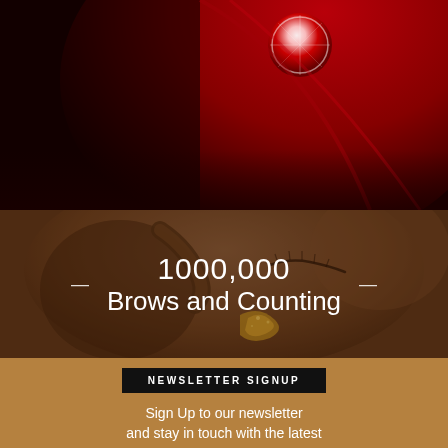[Figure (photo): Close-up photo of a red fabric with a jeweled brooch at the top, fading into a warm dark background.]
[Figure (photo): Close-up photo of a dark-skinned person's face, eyes closed, with fingers near their brow area and a golden glitter accessory visible. Warm brown tones. Overlaid with the text '1000,000 Brows and Counting' in white.]
1000,000 Brows and Counting
NEWSLETTER SIGNUP
Sign Up to our newsletter and stay in touch with the latest trends, news and specials